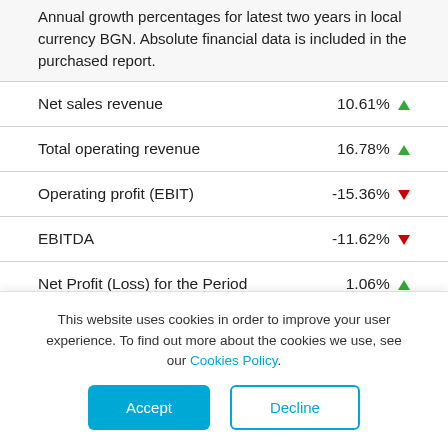Annual growth percentages for latest two years in local currency BGN. Absolute financial data is included in the purchased report.
| Metric | Growth |
| --- | --- |
| Net sales revenue | 10.61% ▲ |
| Total operating revenue | 16.78% ▲ |
| Operating profit (EBIT) | -15.36% ▼ |
| EBITDA | -11.62% ▼ |
| Net Profit (Loss) for the Period | 1.06% ▲ |
| Total assets | 21.36% ▲ |
| Total equity | 4.49% ▲ |
This website uses cookies in order to improve your user experience. To find out more about the cookies we use, see our Cookies Policy.